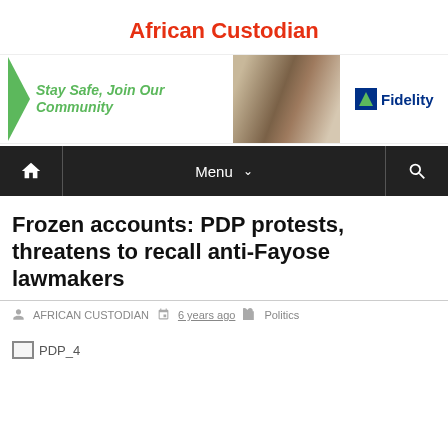African Custodian
[Figure (other): Fidelity Bank advertisement banner: green triangle on left, text 'Stay Safe, Join Our Community' in green italic, photo of people in center, Fidelity Bank logo on right.]
[Figure (screenshot): Navigation bar with home icon, Menu label with dropdown arrow, and search icon on dark background.]
Frozen accounts: PDP protests, threatens to recall anti-Fayose lawmakers
AFRICAN CUSTODIAN   6 years ago   Politics
[Figure (photo): Broken image placeholder labeled PDP_4]